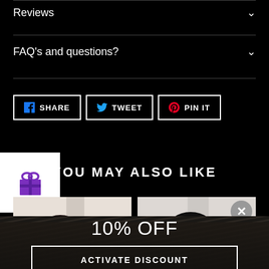Reviews
FAQ's and questions?
SHARE
TWEET
PIN IT
YOU MAY ALSO LIKE
[Figure (photo): Product photo showing a person wearing a dark wig, left side]
[Figure (photo): Product photo showing a person wearing a dark wig, right side, with close button]
10% OFF
ACTIVATE DISCOUNT